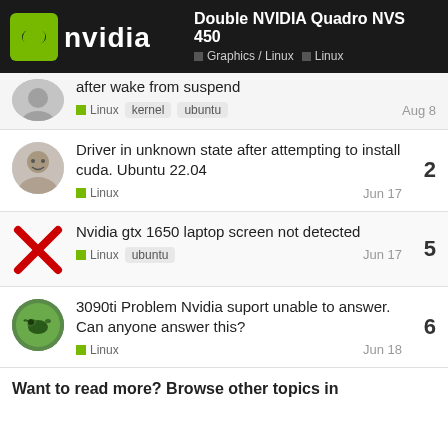Double NVIDIA Quadro NVS 450 — Graphics / Linux | Linux
after wake from suspend — Linux, kernel, ubuntu — Aug 8
Driver in unknown state after attempting to install cuda. Ubuntu 22.04 — Linux — Jun 17 — 2 replies
Nvidia gtx 1650 laptop screen not detected — Linux, ubuntu — Jun 17 — 5 replies
3090ti Problem Nvidia suport unable to answer. Can anyone answer this? — Linux — Jun 18 — 6 replies
Want to read more? Browse other topics in